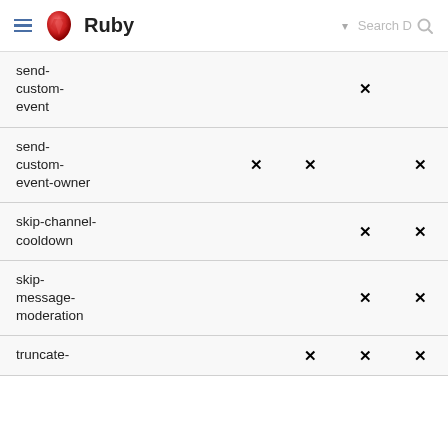Ruby
| Name | Col1 | Col2 | Col3 | Col4 |
| --- | --- | --- | --- | --- |
| send-custom-event |  |  | ✕ |  |
| send-custom-event-owner | ✕ | ✕ |  | ✕ |
| skip-channel-cooldown |  |  | ✕ | ✕ |
| skip-message-moderation |  |  | ✕ | ✕ |
| truncate- |  | ✕ | ✕ | ✕ |